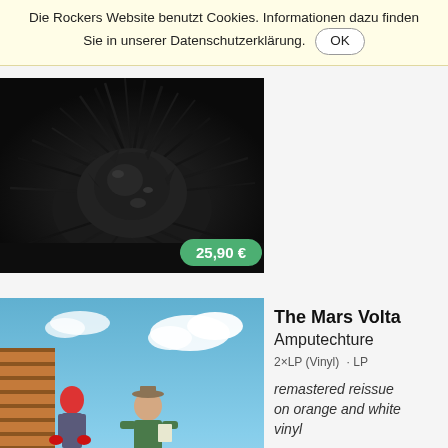Die Rockers Website benutzt Cookies. Informationen dazu finden Sie in unserer Datenschutzerklärung. OK
[Figure (photo): Album cover art showing a dark metallic spiky sculpture or figure against a dark background, with a green price badge showing 25,90 €]
[Figure (photo): Album cover art for The Mars Volta - Amputechture, showing illustrated figures with large red muscular legs and surreal scene]
The Mars Volta
Amputechture
2×LP (Vinyl) · LP
remastered reissue on orange and white vinyl